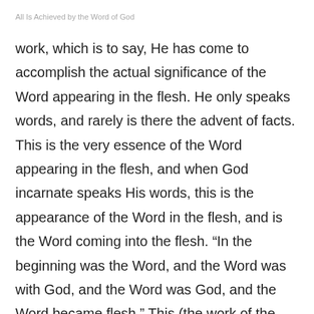All Is Achieved by the Word of God
work, which is to say, He has come to accomplish the actual significance of the Word appearing in the flesh. He only speaks words, and rarely is there the advent of facts. This is the very essence of the Word appearing in the flesh, and when God incarnate speaks His words, this is the appearance of the Word in the flesh, and is the Word coming into the flesh. “In the beginning was the Word, and the Word was with God, and the Word was God, and the Word became flesh.” This (the work of the appearance of the Word in the flesh) is the work that God will accomplish in the last days, and is the final chapter of His entire management plan, and so